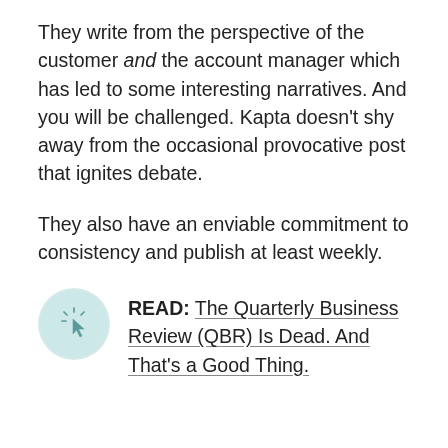They write from the perspective of the customer and the account manager which has led to some interesting narratives. And you will be challenged. Kapta doesn't shy away from the occasional provocative post that ignites debate.
They also have an enviable commitment to consistency and publish at least weekly.
READ: The Quarterly Business Review (QBR) Is Dead. And That's a Good Thing.